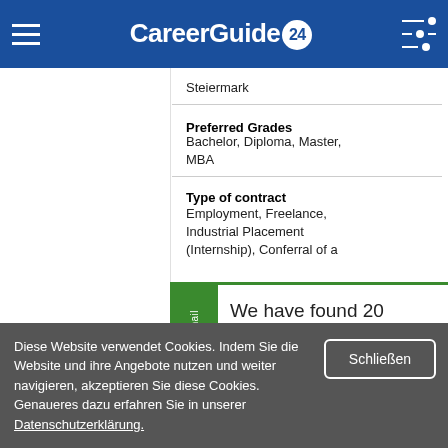CareerGuide 24
Steiermark
Preferred Grades
Bachelor, Diploma, Master, MBA
Type of contract
Employment, Freelance, Industrial Placement (Internship), Conferral of a
We have found 20 matching employers for you.
Where should we send you the results list?
Career a
Diese Website verwendet Cookies. Indem Sie die Website und ihre Angebote nutzen und weiter navigieren, akzeptieren Sie diese Cookies. Genaueres dazu erfahren Sie in unserer Datenschutzerklärung.
Schließen